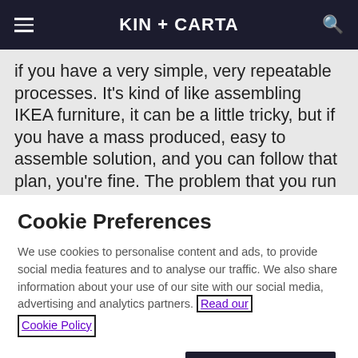KIN + CARTA
if you have a very simple, very repeatable processes. It's kind of like assembling IKEA furniture, it can be a little tricky, but if you have a mass produced, easy to assemble solution, and you can follow that plan, you're fine. The problem that you run into is change. What if you didn't measure perfectly? What if you forgot to pick up
Cookie Preferences
We use cookies to personalise content and ads, to provide social media features and to analyse our traffic. We also share information about your use of our site with our social media, advertising and analytics partners. Read our Cookie Policy
Manage Preferences
Accept All Cookies